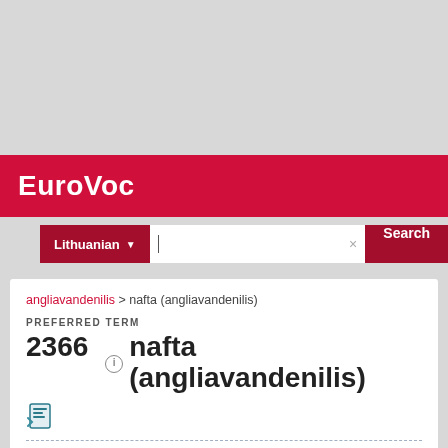EuroVoc
Lithuanian ▾  ×  Search
angliavandenilis > nafta (angliavandenilis)
PREFERRED TERM
2366 nafta (angliavandenilis)
BROADER CONCEPT